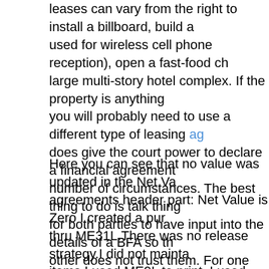leases can vary from the right to install a billboard, build a used for wireless cell phone reception), open a fast-food ch large multi-story hotel complex. If the property is anything you will probably need to use a different type of leasing ag does give the court power to declare a financial agreement number of circumstances. The best thing to do is talk thing for both parties to have input into the details of a BFA so th other does not trust them. For one person to draw up such telling the other about it, then expecting them to sign it with whole thing, is like expecting to win the lottery; it is highly u (http://www.krukaychinese.com/2020/12/01/advantages-of-
Here you can see that no value was updated in the Net Va agreements header part: Net Value is Zero I created a pur thru ME31L.There was no release strategy.I did not mainta items.I used ME9L to print. I used application EV and mess print.=20Encounter ME260 No suitable purchasing docume LPA scheduling agreement, then there is more work to do a called SA Release Documentation for either JIT Delivery so